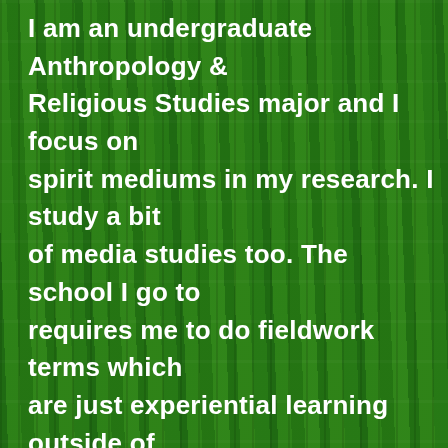I am an undergraduate Anthropology & Religious Studies major and I focus on spirit mediums in my research. I study a bit of media studies too. The school I go to requires me to do fieldwork terms which are just experiential learning outside of the classroom. I'm trying to find out what I will do for this summer. My friend just showed me your website and channel and I'm extremely interested in learning more about you and your medium and possibly doing some ethnographic research under you guys. Ethnographic in that I could come to you as fieldwork, or if not maybe we could do research over zoom if that